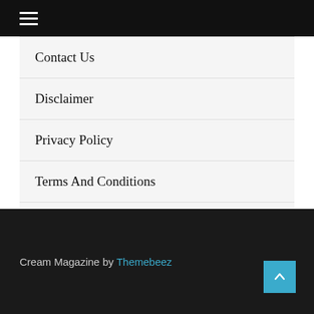≡ (hamburger menu icon)
Contact Us
Disclaimer
Privacy Policy
Terms And Conditions
Write For Us
Cream Magazine by Themebeez